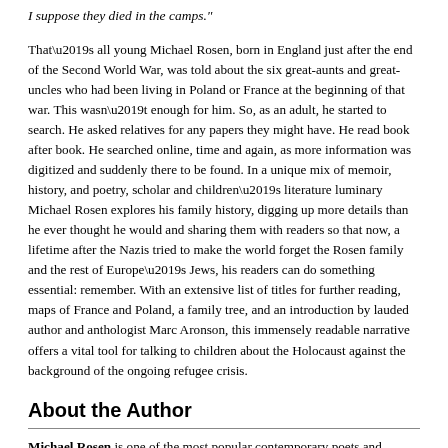I suppose they died in the camps."
That’s all young Michael Rosen, born in England just after the end of the Second World War, was told about the six great-aunts and great-uncles who had been living in Poland or France at the beginning of that war. This wasn’t enough for him. So, as an adult, he started to search. He asked relatives for any papers they might have. He read book after book. He searched online, time and again, as more information was digitized and suddenly there to be found. In a unique mix of memoir, history, and poetry, scholar and children’s literature luminary Michael Rosen explores his family history, digging up more details than he ever thought he would and sharing them with readers so that now, a lifetime after the Nazis tried to make the world forget the Rosen family and the rest of Europe’s Jews, his readers can do something essential: remember. With an extensive list of titles for further reading, maps of France and Poland, a family tree, and an introduction by lauded author and anthologist Marc Aronson, this immensely readable narrative offers a vital tool for talking to children about the Holocaust against the background of the ongoing refugee crisis.
About the Author
Michael Rosen is one of the most popular contemporary poets and authors